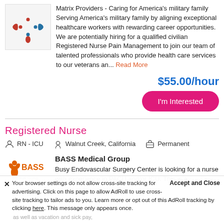[Figure (logo): Matrix Providers decorative logo with colored dots arranged in a circular pattern]
Matrix Providers - Caring for America's military family Serving America's military family by aligning exceptional healthcare workers with rewarding career opportunities. We are potentially hiring for a qualified civilian Registered Nurse Pain Management to join our team of talented professionals who provide health care services to our veterans an... Read More
$55.00/hour
I'm Interested
Registered Nurse
RN - ICU   Walnut Creek, California   Permanent
[Figure (logo): BASS Medical Group logo with stylized figure and text]
BASS Medical Group
Busy Endovascular Surgery Center is looking for a nurse with experience in PACU and/or ICU. This is a Full Time (salary DOE), 3-4days/week
Your browser settings do not allow cross-site tracking for advertising. Click on this page to allow AdRoll to use cross-site tracking to tailor ads to you. Learn more or opt out of this AdRoll tracking by clicking here. This message only appears once.